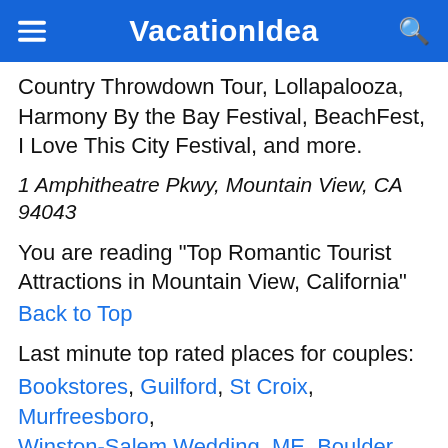VacationIdea
Country Throwdown Tour, Lollapalooza, Harmony By the Bay Festival, BeachFest, I Love This City Festival, and more.
1 Amphitheatre Pkwy, Mountain View, CA 94043
You are reading "Top Romantic Tourist Attractions in Mountain View, California"
Back to Top
Last minute top rated places for couples:
Bookstores, Guilford, St Croix, Murfreesboro, Winston-Salem Wedding, ME, Boulder, RI,